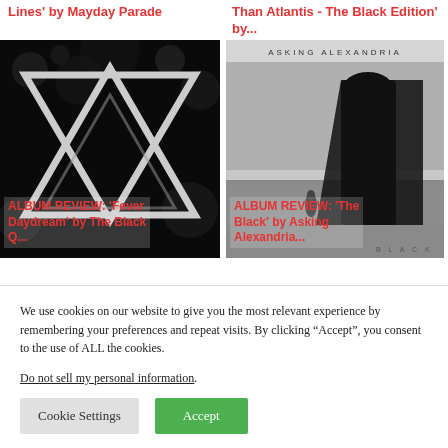Lines' by Mayday Parade
Than Atlantis - The Black Edition' by...
[Figure (photo): Black and white album art with geometric triangle logo for 'Fever Daydream' by The Black Queen]
ALBUM REVIEW: 'Fever Daydream' by The Black Q...
[Figure (photo): Black and white album art for 'The Black' by Asking Alexandria, showing a cloaked figure and a small person in a field. Text 'ASKING ALEXANDRIA' at top.]
ALBUM REVIEW: 'The Black' by Asking Alexandria
We use cookies on our website to give you the most relevant experience by remembering your preferences and repeat visits. By clicking “Accept”, you consent to the use of ALL the cookies.
Do not sell my personal information.